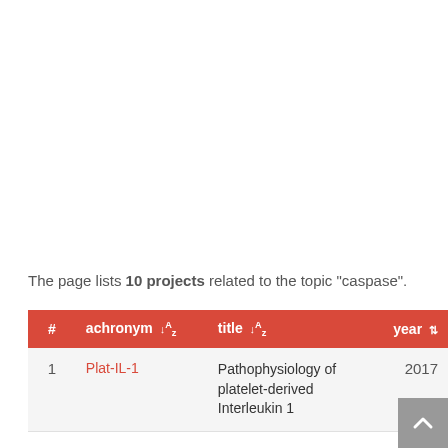The page lists 10 projects related to the topic "caspase".
| # | achronym ↓A-Z | title ↓A-Z | year ⇅ |
| --- | --- | --- | --- |
| 1 | Plat-IL-1 | Pathophysiology of platelet-derived Interleukin 1 | 2017 |